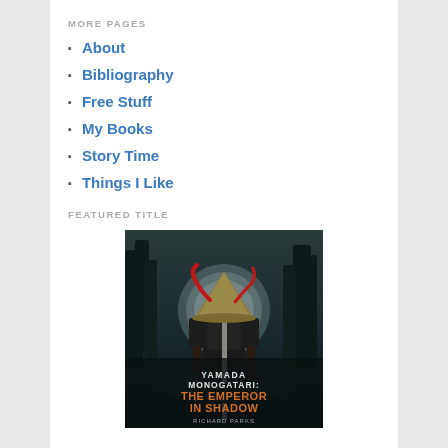MORE PAGES
About
Bibliography
Free Stuff
My Books
Story Time
Things I Like
FEATURED TITLE
[Figure (photo): Book cover of 'Yamada Monogatari: The Emperor in Shadow' by Richard Parks, showing a samurai warrior in black armor with a red sash and conical hat standing against a dark, forested background with a glowing orb. The title appears in white and orange text at the bottom.]